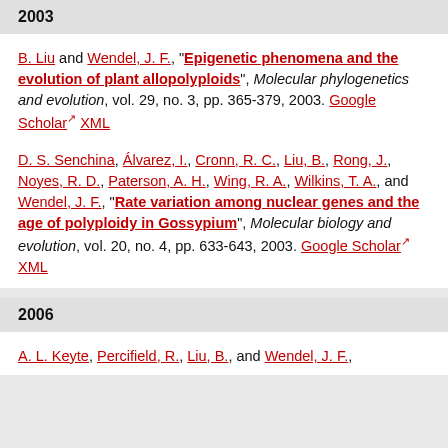2003
B. Liu and Wendel, J. F., “Epigenetic phenomena and the evolution of plant allopolyploids”, Molecular phylogenetics and evolution, vol. 29, no. 3, pp. 365-379, 2003. Google Scholar XML
D. S. Senchina, Álvarez, I., Cronn, R. C., Liu, B., Rong, J., Noyes, R. D., Paterson, A. H., Wing, R. A., Wilkins, T. A., and Wendel, J. F., “Rate variation among nuclear genes and the age of polyploidy in Gossypium”, Molecular biology and evolution, vol. 20, no. 4, pp. 633-643, 2003. Google Scholar XML
2006
A. L. Keyte, Percifield, R., Liu, B., and Wendel, J. F.,